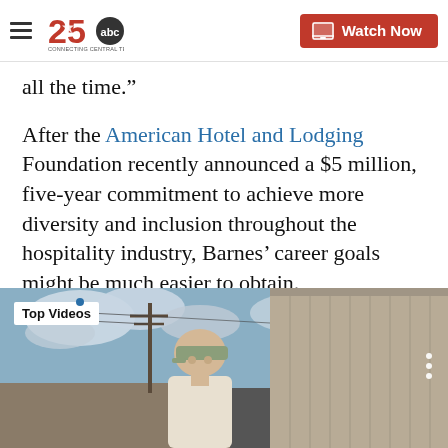KXXV 25 ABC - Connecting Central Texas | Watch Now
all the time.”
After the American Hotel and Lodging Foundation recently announced a $5 million, five-year commitment to achieve more diversity and inclusion throughout the hospitality industry, Barnes’ career goals might be much easier to obtain.
Recent Stories from kxxv.com
[Figure (screenshot): Video thumbnail showing a man in a camouflage cap standing outdoors near utility poles and a metal building, with 'Top Videos' label overlay]